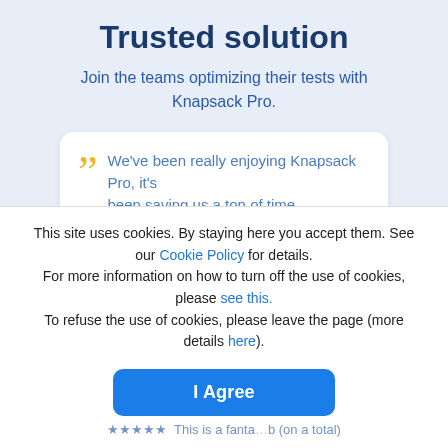Trusted solution
Join the teams optimizing their tests with Knapsack Pro.
We've been really enjoying Knapsack Pro, it's been saving us a ton of time.
This site uses cookies. By staying here you accept them. See our Cookie Policy for details.
For more information on how to turn off the use of cookies, please see this.
To refuse the use of cookies, please leave the page (more details here).
I Agree